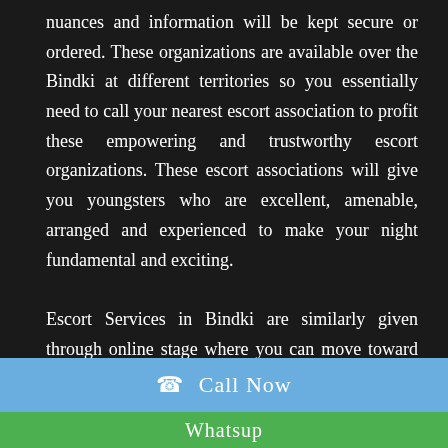nuances and information will be kept secure or ordered. These organizations are available over the Bindki at different territories so you essentially need to call your nearest escort association to profit these empowering and trustworthy escort organizations. These escort associations will give you youngsters who are excellent, amenable, arranged and experienced to make your night fundamental and exciting.

Escort Services in Bindki are similarly given through online stage where you can move toward particular Bindki
☎ Call Now
Whatsup